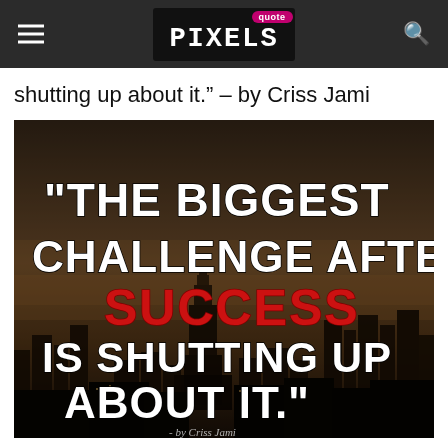Quote Pixels — navigation bar logo
shutting up about it." – by Criss Jami
[Figure (illustration): Quote image over city skyline background with text: "The biggest challenge after SUCCESS is shutting up about it." - by Criss Jami. The word SUCCESS is in red, other text in white bold capitals.]